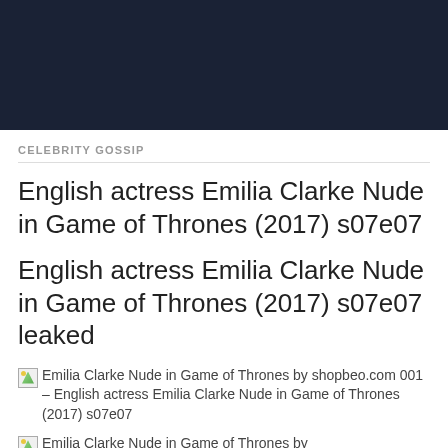[Figure (other): Dark navy header banner area]
CELEBRITY GOSSIP
English actress Emilia Clarke Nude in Game of Thrones (2017) s07e07
English actress Emilia Clarke Nude in Game of Thrones (2017) s07e07 leaked
Emilia Clarke Nude in Game of Thrones by shopbeo.com 001 – English actress Emilia Clarke Nude in Game of Thrones (2017) s07e07
Emilia Clarke Nude in Game of Thrones by